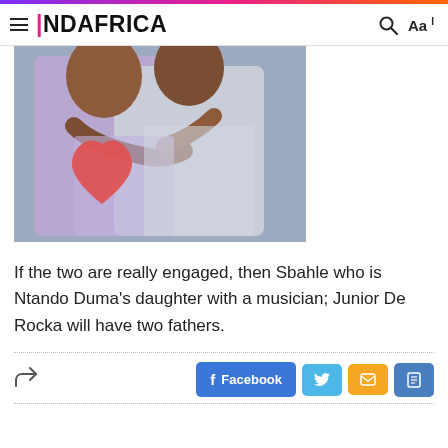INDAFRICA
[Figure (photo): Two people embracing/hugging, wearing casual clothing in light colors. A large red heart emoji is overlaid on the image.]
If the two are really engaged, then Sbahle who is Ntando Duma's daughter with a musician; Junior De Rocka will have two fathers.